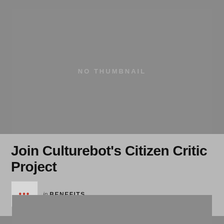[Figure (other): Gray placeholder image with 'NO THUMBNAIL' text in the center]
Join Culturebot’s Citizen Critic Project
in BENEFITS
[Figure (other): Gray placeholder image at the bottom of the page]